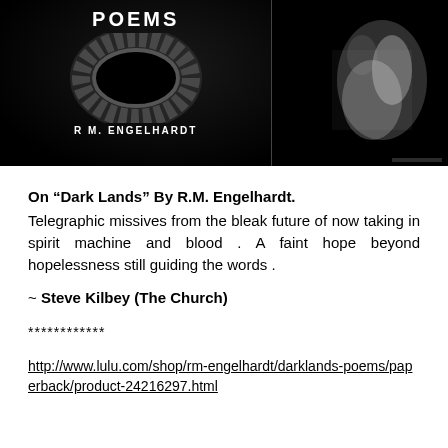[Figure (photo): Two book cover images side by side against black background. Left: 'Poems' / 'Dark Lands' by R M. Engelhardt with a dark wreath/ring design. Right: A second dark artistic image.]
On “Dark Lands” By R.M. Engelhardt.
Telegraphic missives from the bleak future of now taking in spirit machine and blood . A faint hope beyond hopelessness still guiding the words .
~ Steve Kilbey (The Church)
************
http://www.lulu.com/shop/rm-engelhardt/darklands-poems/paperback/product-24216297.html